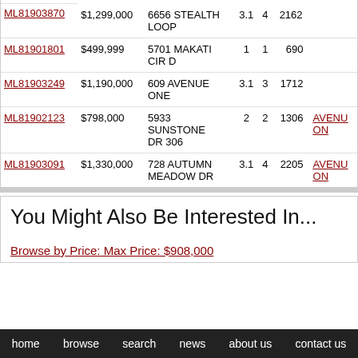| MLS# | Price | Address | Bath | Bed | Sqft |  |
| --- | --- | --- | --- | --- | --- | --- |
| ML81903870 | $1,299,000 | 6656 STEALTH LOOP | 3.1 | 4 | 2162 |  |
| ML81901801 | $499,999 | 5701 MAKATI CIR D | 1 | 1 | 690 |  |
| ML81903249 | $1,190,000 | 609 AVENUE ONE | 3.1 | 3 | 1712 |  |
| ML81902123 | $798,000 | 5933 SUNSTONE DR 306 | 2 | 2 | 1306 | AVENUE ONE |
| ML81903091 | $1,330,000 | 728 AUTUMN MEADOW DR | 3.1 | 4 | 2205 | AVENUE ONE |
You Might Also Be Interested In...
Browse by Price: Max Price: $908,000
home   browse   search   news   about us   contact us